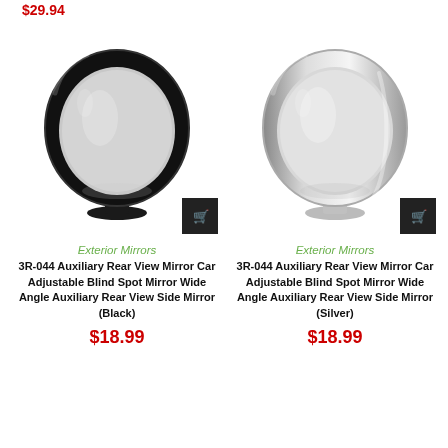$29.94
[Figure (photo): Black auxiliary rear view blind spot mirror with round convex face and black mount base]
[Figure (photo): Silver auxiliary rear view blind spot mirror with round convex face and chrome/silver mount base]
Exterior Mirrors
3R-044 Auxiliary Rear View Mirror Car Adjustable Blind Spot Mirror Wide Angle Auxiliary Rear View Side Mirror (Black)
$18.99
Exterior Mirrors
3R-044 Auxiliary Rear View Mirror Car Adjustable Blind Spot Mirror Wide Angle Auxiliary Rear View Side Mirror (Silver)
$18.99